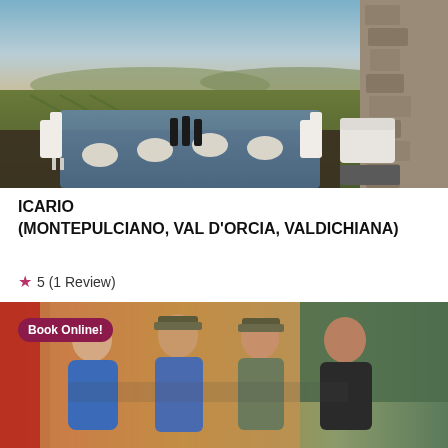[Figure (photo): Outdoor terrace dining table with white chairs and wine bottles, overlooking a vineyard landscape at dusk, with a stone wall on the right.]
ICARIO
(MONTEPULCIANO, VAL D'ORCIA, VALDICHIANA)
★ 5 (1 Review)
[Figure (photo): Four men posing together outdoors near harvest equipment, with a 'Book Online!' badge overlay in the top left corner.]